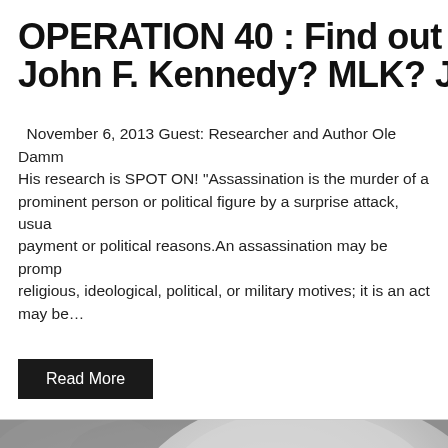OPERATION 40 : Find out who killed John F. Kennedy? MLK? John Lenno
November 6, 2013 Guest: Researcher and Author Ole Damm. His research is SPOT ON! “Assassination is the murder of a prominent person or political figure by a surprise attack, usually for payment or political reasons.An assassination may be prompted by religious, ideological, political, or military motives; it is an act may be…
Read More
[Figure (photo): Black and white close-up photograph of an animal skull, showing bone structure with eye socket and other cranial features visible]